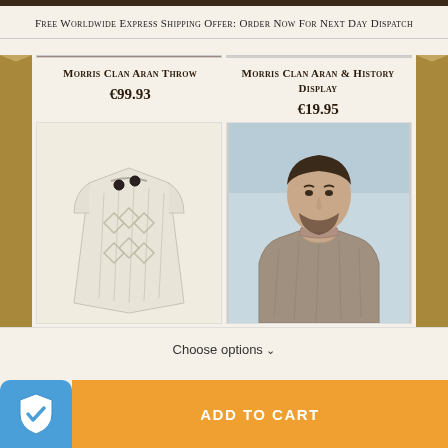Free Worldwide Express Shipping Offer: Order Now For Next Day Dispatch
Morris Clan Aran Throw
€99.93
Morris Clan Aran & History Display
€19.95
[Figure (photo): Cream colored knit Aran poncho/throw with two dark buttons at neckline, cable knit pattern]
[Figure (photo): Man wearing a brown/grey Aran knit sweater against an outdoor/sea background]
Choose options ∨
ADD TO CART